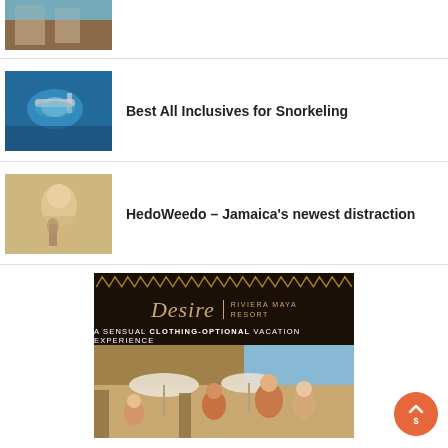[Figure (photo): Partial view of a resort room thumbnail at top of page]
[Figure (photo): Person snorkeling underwater]
Best All Inclusives for Snorkeling
[Figure (photo): Person holding a drink with vintage filter]
HedoWeedo – Jamaica's newest distraction
[Figure (photo): Desire Riviera Maya Resort advertisement banner - A Sensual Clothing-Optional Vacation Experience]